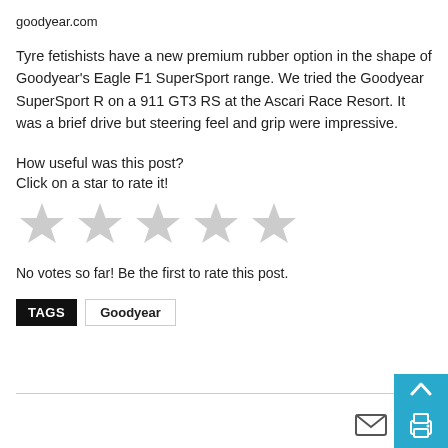goodyear.com
Tyre fetishists have a new premium rubber option in the shape of Goodyear's Eagle F1 SuperSport range. We tried the Goodyear SuperSport R on a 911 GT3 RS at the Ascari Race Resort. It was a brief drive but steering feel and grip were impressive.
How useful was this post?
Click on a star to rate it!
[Figure (other): Five grey star rating icons for user rating]
No votes so far! Be the first to rate this post.
TAGS  Goodyear